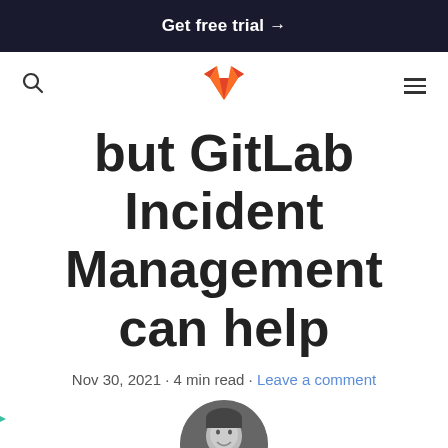Get free trial →
[Figure (logo): GitLab fox logo in orange/red]
but GitLab Incident Management can help
Nov 30, 2021 · 4 min read · Leave a comment
[Figure (photo): Circular author headshot, black and white photo of a smiling man, with teal triangle and orange diamond decorative elements]